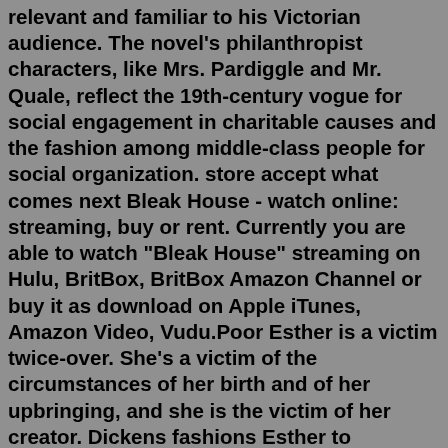relevant and familiar to his Victorian audience. The novel's philanthropist characters, like Mrs. Pardiggle and Mr. Quale, reflect the 19th-century vogue for social engagement in charitable causes and the fashion among middle-class people for social organization. store accept what comes next Bleak House - watch online: streaming, buy or rent. Currently you are able to watch "Bleak House" streaming on Hulu, BritBox, BritBox Amazon Channel or buy it as download on Apple iTunes, Amazon Video, Vudu.Poor Esther is a victim twice-over. She's a victim of the circumstances of her birth and of her upbringing, and she is the victim of her creator. Dickens fashions Esther to represent a Victorian ideal of womanhood, devoted to domesticity and to acts of selflessness and sacrifice. This version of womanhood was unpalatable to many even in its ...Bleak House Latest answer posted March 24, 2017 at 10:28:13 AM In Bleak House, why does Dickens use so many nicknames for Esther (Mrs. Durden, Cobweb, Mrs. Shipton, and Little Old Lady)?Jan 19,